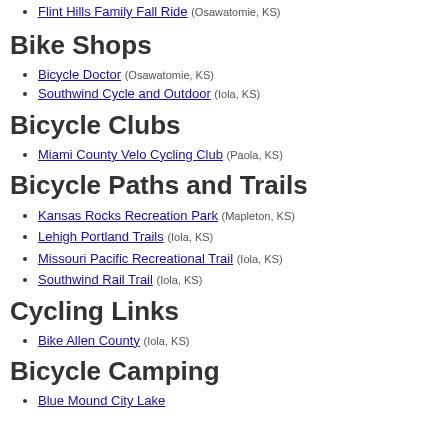Flint Hills Family Fall Ride (Osawatomie, KS)
Bike Shops
Bicycle Doctor (Osawatomie, KS)
Southwind Cycle and Outdoor (Iola, KS)
Bicycle Clubs
Miami County Velo Cycling Club (Paola, KS)
Bicycle Paths and Trails
Kansas Rocks Recreation Park (Mapleton, KS)
Lehigh Portland Trails (Iola, KS)
Missouri Pacific Recreational Trail (Iola, KS)
Southwind Rail Trail (Iola, KS)
Cycling Links
Bike Allen County (Iola, KS)
Bicycle Camping
Blue Mound City Lake